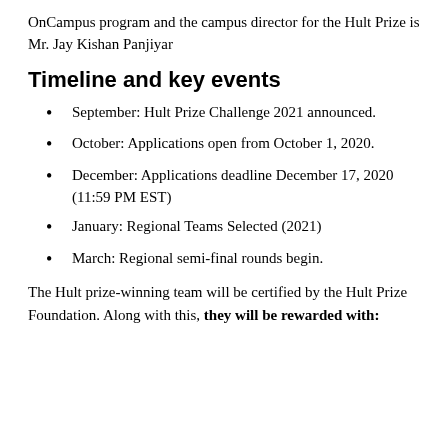OnCampus program and the campus director for the Hult Prize is Mr. Jay Kishan Panjiyar
Timeline and key events
September: Hult Prize Challenge 2021 announced.
October: Applications open from October 1, 2020.
December: Applications deadline December 17, 2020 (11:59 PM EST)
January: Regional Teams Selected (2021)
March: Regional semi-final rounds begin.
The Hult prize-winning team will be certified by the Hult Prize Foundation. Along with this, they will be rewarded with: